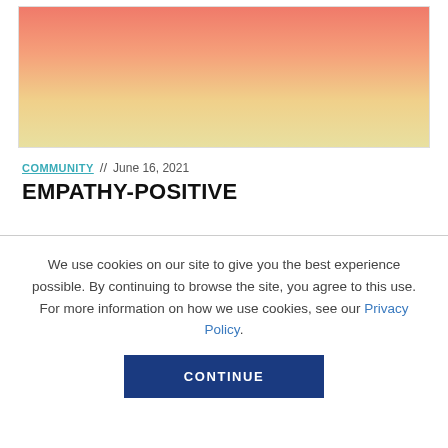[Figure (illustration): Gradient image fading from coral/salmon red at the top to pale yellow at the bottom]
COMMUNITY // June 16, 2021
EMPATHY-POSITIVE
We use cookies on our site to give you the best experience possible. By continuing to browse the site, you agree to this use. For more information on how we use cookies, see our Privacy Policy.
CONTINUE